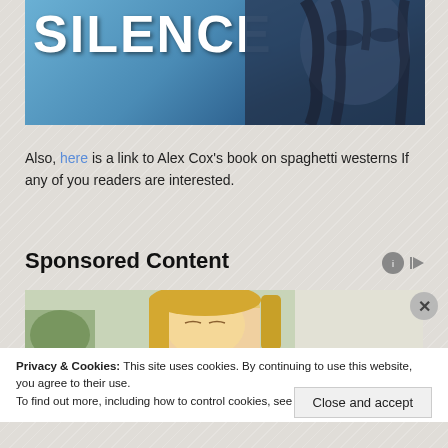[Figure (illustration): Book cover showing the word SILENCE in large white bold letters against a blue background with a painted dark figure/face on the right side]
Also, here is a link to Alex Cox's book on spaghetti westerns If any of you readers are interested.
Sponsored Content
[Figure (photo): Photo of a blonde woman looking down, with a plant visible in the background]
Privacy & Cookies: This site uses cookies. By continuing to use this website, you agree to their use.
To find out more, including how to control cookies, see here: Cookie Policy
Close and accept